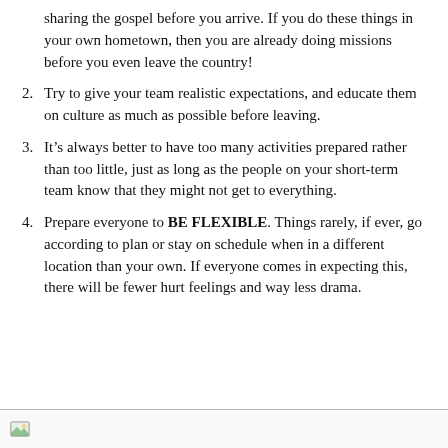(continuation) sharing the gospel before you arrive.  If you do these things in your own hometown, then you are already doing missions before you even leave the country!
2. Try to give your team realistic expectations, and educate them on culture as much as possible before leaving.
3. It’s always better to have too many activities prepared rather than too little, just as long as the people on your short-term team know that they might not get to everything.
4. Prepare everyone to BE FLEXIBLE.  Things rarely, if ever, go according to plan or stay on schedule when in a different location than your own.  If everyone comes in expecting this, there will be fewer hurt feelings and way less drama.
[Figure (other): Small image icon visible at bottom of page in a footer bar]